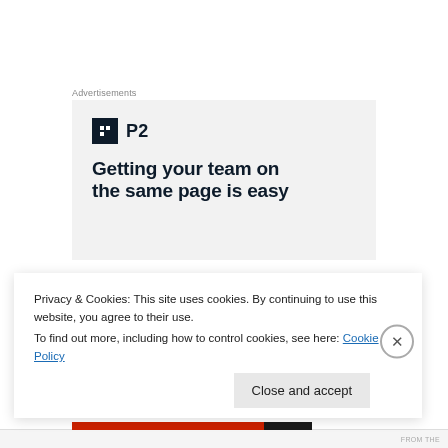Advertisements
[Figure (other): Advertisement box with P2 logo and headline 'Getting your team on the same page is easy']
Cruciferous vegetables, such as broccoli, cabbage, cauliflower and brussel sprouts, can also contribute to a stronger immune system. They contain high levels of
Privacy & Cookies: This site uses cookies. By continuing to use this website, you agree to their use.
To find out more, including how to control cookies, see here: Cookie Policy
Close and accept